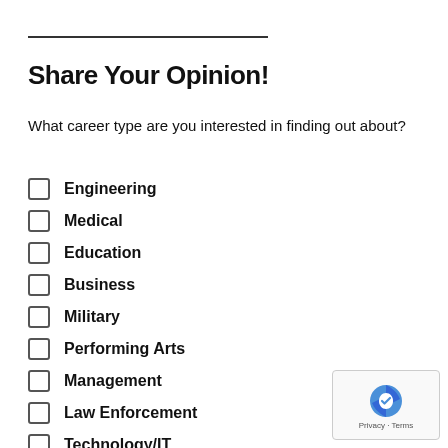Share Your Opinion!
What career type are you interested in finding out about?
Engineering
Medical
Education
Business
Military
Performing Arts
Management
Law Enforcement
Technology/IT